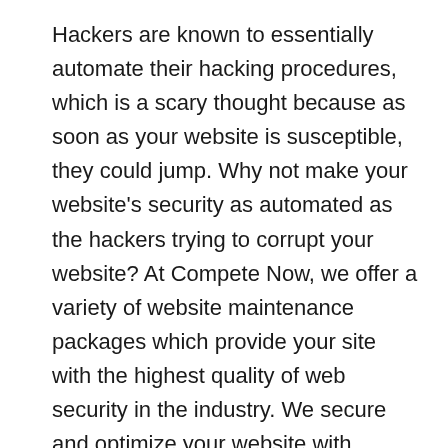Hackers are known to essentially automate their hacking procedures, which is a scary thought because as soon as your website is susceptible, they could jump. Why not make your website's security as automated as the hackers trying to corrupt your website? At Compete Now, we offer a variety of website maintenance packages which provide your site with the highest quality of web security in the industry. We secure and optimize your website with routine WordPress updates, plugin updates, virus scans, malware checks, backup tests, and much more. Why risk having your website compromised, when you can ensure your business' and your client's security. To learn more about Compete Now and our maintenance packages, feel free to visit our website at